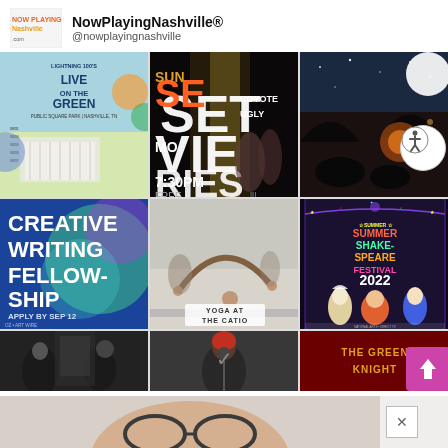[Figure (screenshot): NowPlayingNashville logo - orange and yellow text on white background]
NowPlayingNashville®
@nowplayingnashville
[Figure (screenshot): Instagram-style grid of 9 images showing: Live on the Green festival poster, Sunset Movie Series poster, outdoor night event, Creative Writing Fellowship poster, Yoga at the Catio photo, Summer Shakespeare Festival 2022 poster, and three partially visible bottom row images including The Green Knight]
[Figure (photo): Advertisement banner at bottom of page - partially visible image with close X button]